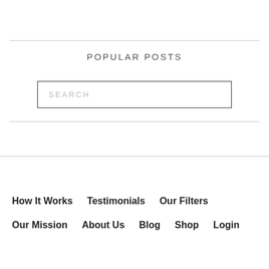POPULAR POSTS
SEARCH
How It Works
Testimonials
Our Filters
Our Mission
About Us
Blog
Shop
Login